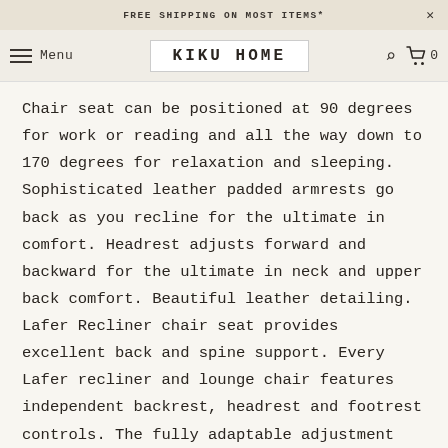FREE SHIPPING ON MOST ITEMS*
KIKU HOME  Menu
Chair seat can be positioned at 90 degrees for work or reading and all the way down to 170 degrees for relaxation and sleeping. Sophisticated leather padded armrests go back as you recline for the ultimate in comfort. Headrest adjusts forward and backward for the ultimate in neck and upper back comfort. Beautiful leather detailing. Lafer Recliner chair seat provides excellent back and spine support. Every Lafer recliner and lounge chair features independent backrest, headrest and footrest controls. The fully adaptable adjustment systems of the Lafer modern recliners have been developed by Percival Lafer over the past 20 years to provide the best experience the comfort of a reclining chair can offer you, whether